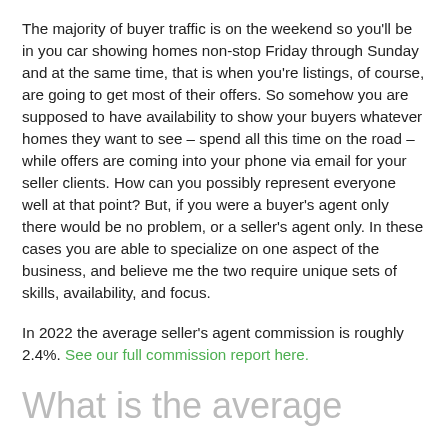The majority of buyer traffic is on the weekend so you'll be in you car showing homes non-stop Friday through Sunday and at the same time, that is when you're listings, of course, are going to get most of their offers. So somehow you are supposed to have availability to show your buyers whatever homes they want to see – spend all this time on the road – while offers are coming into your phone via email for your seller clients. How can you possibly represent everyone well at that point? But, if you were a buyer's agent only there would be no problem, or a seller's agent only. In these cases you are able to specialize on one aspect of the business, and believe me the two require unique sets of skills, availability, and focus.
In 2022 the average seller's agent commission is roughly 2.4%. See our full commission report here.
What is the average